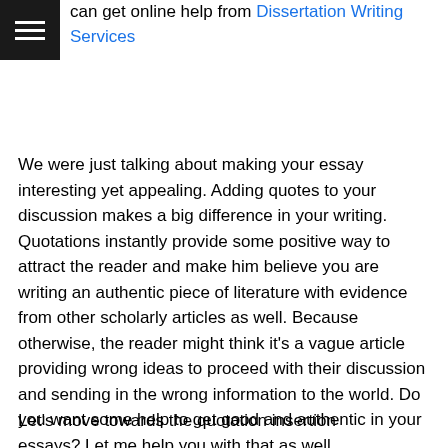can get online help from Dissertation Writing Services
[Figure (logo): Black hamburger menu icon with three white horizontal lines]
We were just talking about making your essay interesting yet appealing. Adding quotes to your discussion makes a big difference in your writing. Quotations instantly provide some positive way to attract the reader and make him believe you are writing an authentic piece of literature with evidence from other scholarly articles as well. Because otherwise, the reader might think it's a vague article providing wrong ideas to proceed with their discussion and sending in the wrong information to the world. Do you want some help to get good and authentic in your essays? Let me help you with that as well.
Let's move towards the quotation insertion